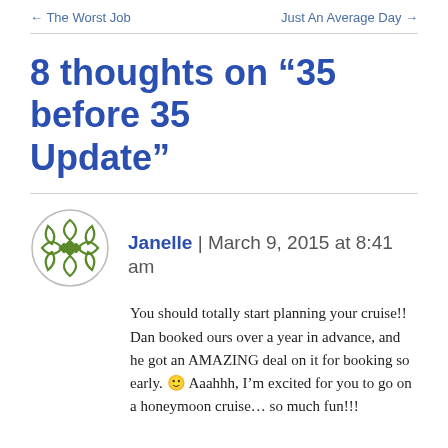← The Worst Job    Just An Average Day →
8 thoughts on “35 before 35 Update”
Janelle | March 9, 2015 at 8:41 am
[Figure (logo): Circular green geometric pattern avatar icon]
You should totally start planning your cruise!! Dan booked ours over a year in advance, and he got an AMAZING deal on it for booking so early. 🙂 Aaahhh, I’m excited for you to go on a honeymoon cruise… so much fun!!!